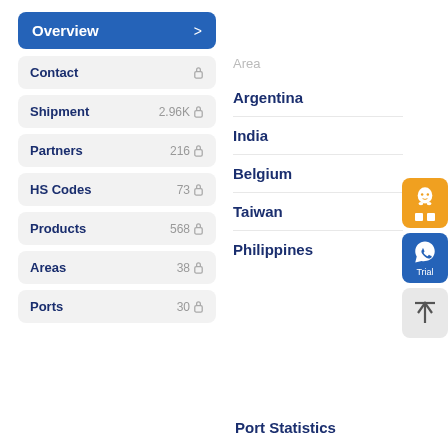Overview >
Contact 🔒
Shipment 2.96K 🔒
Partners 216 🔒
HS Codes 73 🔒
Products 568 🔒
Areas 38 🔒
Ports 30 🔒
Area
Argentina
India
Belgium
Taiwan
Philippines
Port Statistics